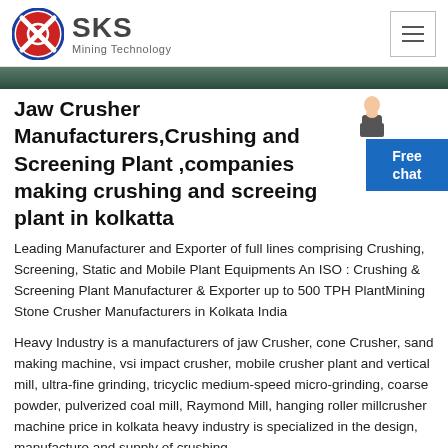SKS Mining Technology
[Figure (photo): Hero banner image showing a mining/crushing plant facility in green/dark tones]
Jaw Crusher Manufacturers,Crushing and Screening Plant ,companies making crushing and screeing plant in kolkatta
Leading Manufacturer and Exporter of full lines comprising Crushing, Screening, Static and Mobile Plant Equipments An ISO : Crushing & Screening Plant Manufacturer & Exporter up to 500 TPH PlantMining Stone Crusher Manufacturers in Kolkata India
Heavy Industry is a manufacturers of jaw Crusher, cone Crusher, sand making machine, vsi impact crusher, mobile crusher plant and vertical mill, ultra-fine grinding, tricyclic medium-speed micro-grinding, coarse powder, pulverized coal mill, Raymond Mill, hanging roller millcrusher machine price in kolkata heavy industry is specialized in the design, manufacture and supply of crushing